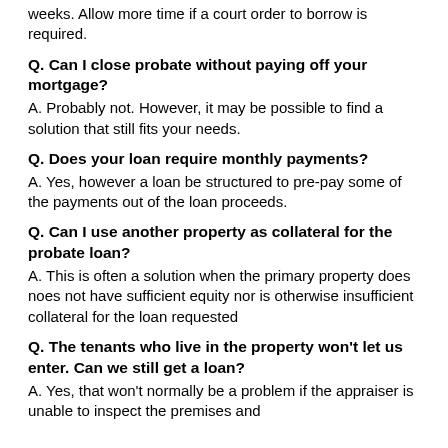weeks. Allow more time if a court order to borrow is required.
Q. Can I close probate without paying off your mortgage?
A.  Probably not.  However, it may be possible to find a solution that still fits your needs.
Q. Does your loan require monthly payments?
A.  Yes, however a loan be structured to pre-pay some of the payments out of the loan proceeds.
Q. Can I use another property as collateral for the probate loan?
A.  This is often a solution when the primary property does noes not have sufficient equity nor is otherwise insufficient collateral for the loan requested
Q. The tenants who live in the property won't let us enter.  Can we still get a loan?
A.  Yes, that won't normally be a problem if the appraiser is unable to inspect the premises and